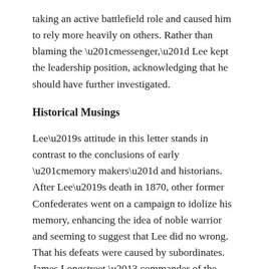taking an active battlefield role and caused him to rely more heavily on others. Rather than blaming the “messenger,” Lee kept the leadership position, acknowledging that he should have further investigated.
Historical Musings
Lee’s attitude in this letter stands in contrast to the conclusions of early “memory makers” and historians. After Lee’s death in 1870, other former Confederates went on a campaign to idolize his memory, enhancing the idea of noble warrior and seeming to suggest that Lee did no wrong. That his defeats were caused by subordinates. James Longstreet – commander of the First Corps at Gettysburg – got assigned particular blame through the new smear/marble campaign.